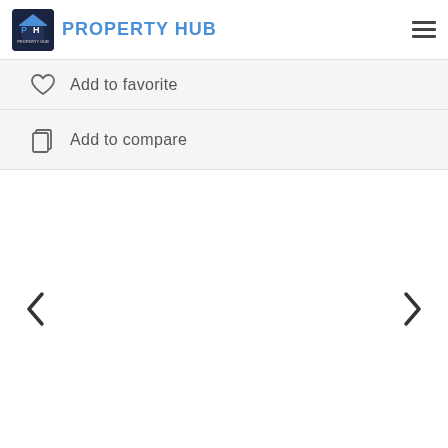PROPERTY HUB
Add to favorite
Add to compare
[Figure (screenshot): Carousel navigation area with left and right chevron arrows for browsing property images]